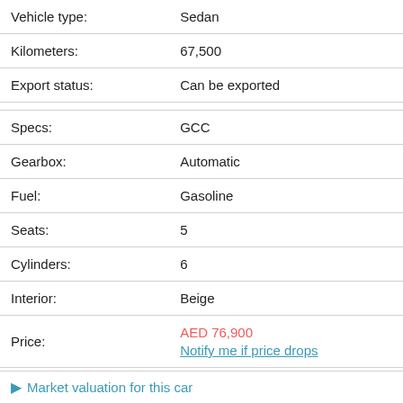| Field | Value |
| --- | --- |
| Vehicle type: | Sedan |
| Kilometers: | 67,500 |
| Export status: | Can be exported |
|  |  |
| Specs: | GCC |
| Gearbox: | Automatic |
| Fuel: | Gasoline |
| Seats: | 5 |
| Cylinders: | 6 |
| Interior: | Beige |
| Price: | AED 76,900 / Notify me if price drops |
Market valuation for this car